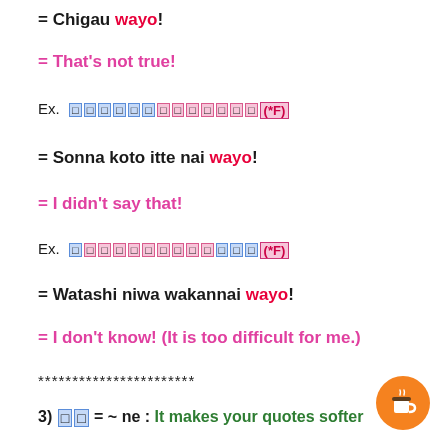= Chigau wayo!
= That's not true!
Ex. [Japanese text](*F)
= Sonna koto itte nai wayo!
= I didn't say that!
Ex. [Japanese text](*F)
= Watashi niwa wakannai wayo!
= I don't know! (It is too difficult for me.)
***********************
3) [ne] = ~ ne : It makes your quotes softer